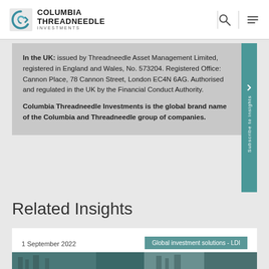Columbia Threadneedle Investments
In the UK: issued by Threadneedle Asset Management Limited, registered in England and Wales, No. 573204. Registered Office: Cannon Place, 78 Cannon Street, London EC4N 6AG. Authorised and regulated in the UK by the Financial Conduct Authority. Columbia Threadneedle Investments is the global brand name of the Columbia and Threadneedle group of companies.
Related Insights
1 September 2022
Global investment solutions - LDI